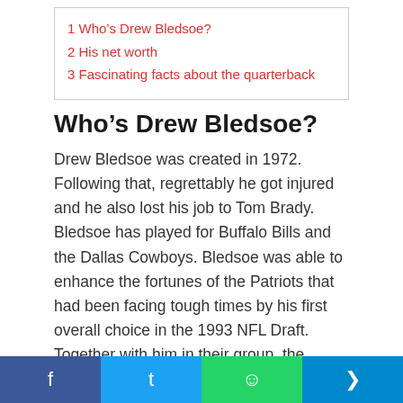1 Who's Drew Bledsoe?
2 His net worth
3 Fascinating facts about the quarterback
Who’s Drew Bledsoe?
Drew Bledsoe was created in 1972. Following that, regrettably he got injured and he also lost his job to Tom Brady. Bledsoe has played for Buffalo Bills and the Dallas Cowboys. Bledsoe was able to enhance the fortunes of the Patriots that had been facing tough times by his first overall choice in the 1993 NFL Draft. Together with him in their group, the Patriots managed to finish a seven-season